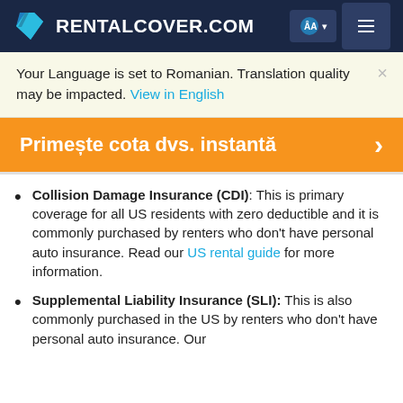RENTALCOVER.COM
Your Language is set to Romanian. Translation quality may be impacted. View in English
Primește cota dvs. instantă
Collision Damage Insurance (CDI): This is primary coverage for all US residents with zero deductible and it is commonly purchased by renters who don't have personal auto insurance. Read our US rental guide for more information.
Supplemental Liability Insurance (SLI): This is also commonly purchased in the US by renters who don't have personal auto insurance. Our